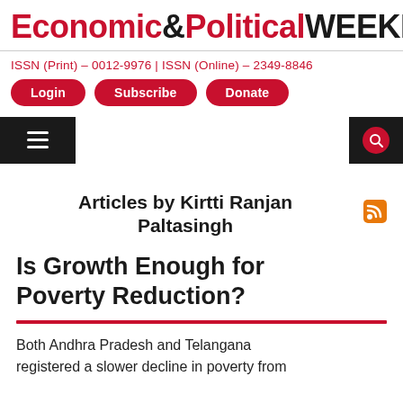Economic&PoliticalWEEKLY
ISSN (Print) - 0012-9976 | ISSN (Online) - 2349-8846
Login  Subscribe  Donate
Articles by Kirtti Ranjan Paltasingh
Is Growth Enough for Poverty Reduction?
Both Andhra Pradesh and Telangana registered a slower decline in poverty from